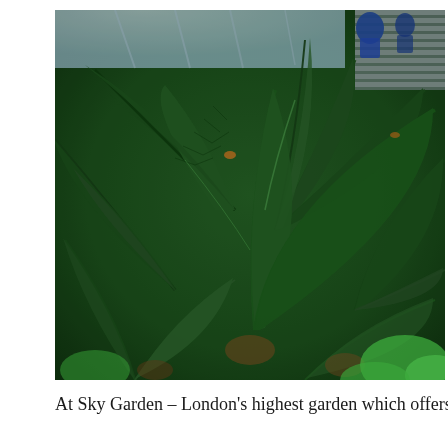[Figure (photo): Lush tropical garden with large cycad/sago palm fronds in shades of deep green, photographed from above. Building structure with glass roof panels visible at top left, slatted wall on right, two people visible at top right. Brown soil and small bright green ground-cover plants visible at base.]
At Sky Garden – London's highest garden which offers a 3